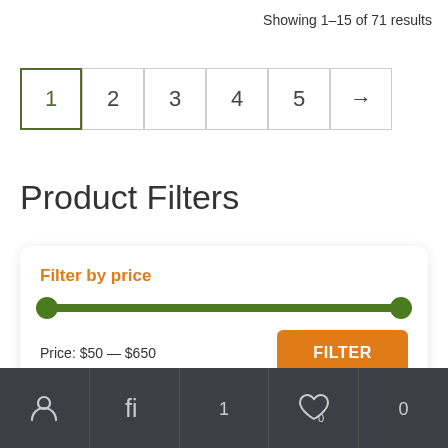Showing 1–15 of 71 results
1 2 3 4 5 →
Product Filters
Filter by price
Price: $50 — $650
FILTER
person icon | filter icon | 1 | heart icon 0 | 0